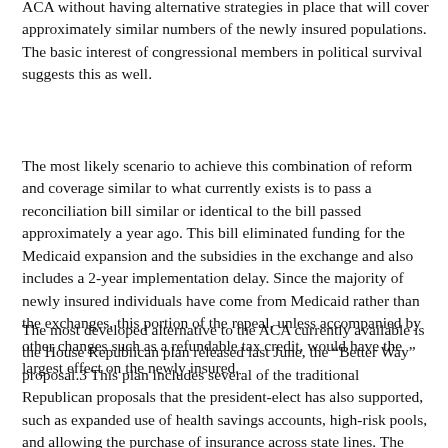ACA without having alternative strategies in place that will cover approximately similar numbers of the newly insured populations. The basic interest of congressional members in political survival suggests this as well.
The most likely scenario to achieve this combination of reform and coverage similar to what currently exists is to pass a reconciliation bill similar or identical to the bill passed approximately a year ago. This bill eliminated funding for the Medicaid expansion and the subsidies in the exchange and also includes a 2-year implementation delay. Since the majority of newly insured individuals have come from Medicaid rather than the exchanges, this portion of the repeal, unless accompanied by other changes such as a refundable tax credit, would have the largest effect on the newly insured.
The most developed alternative to the ACA currently available is the House Republican plan released last June, the “Better Way” proposal.3 This plan includes several of the traditional Republican proposals that the president-elect has also supported, such as expanded use of health savings accounts, high-risk pools, and allowing the purchase of insurance across state lines. The plan also